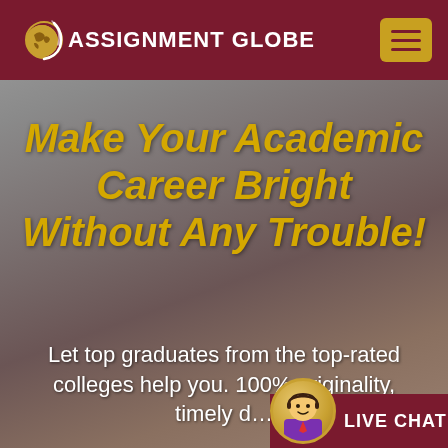[Figure (screenshot): Assignment Globe website header with maroon background, globe logo, text ASSIGNMENT GLOBE in white, and gold hamburger menu button]
Make Your Academic Career Bright Without Any Trouble!
Let top graduates from the top-rated colleges help you. 100% originality, timely d...
[Figure (illustration): Live Chat button with cartoon support agent avatar and maroon background with LIVE CHAT label]